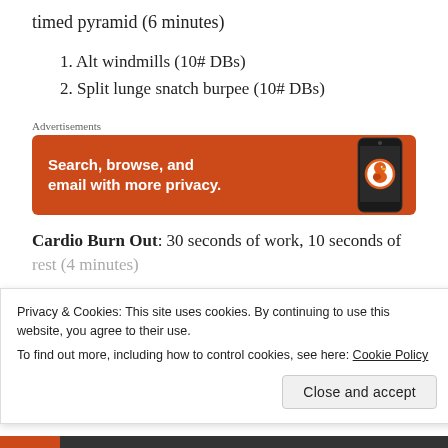timed pyramid (6 minutes)
1. Alt windmills (10# DBs)
2. Split lunge snatch burpee (10# DBs)
Advertisements
[Figure (screenshot): DuckDuckGo advertisement banner: orange background with white bold text 'Search, browse, and email with more privacy.' and a phone graphic with the DuckDuckGo duck logo]
Cardio Burn Out: 30 seconds of work, 10 seconds of rest (4 minutes)
Privacy & Cookies: This site uses cookies. By continuing to use this website, you agree to their use.
To find out more, including how to control cookies, see here: Cookie Policy